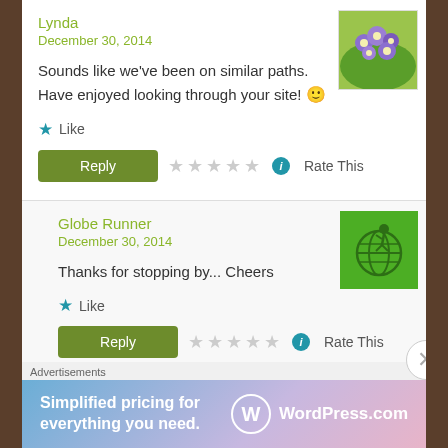Lynda
December 30, 2014
Sounds like we've been on similar paths. Have enjoyed looking through your site! 🙂
Like
Reply  ★☆☆☆☆☆  ℹ Rate This
Globe Runner
December 30, 2014
Thanks for stopping by... Cheers
Like
Reply  ★☆☆☆☆☆  ℹ Rate This
Advertisements
[Figure (other): WordPress.com advertisement banner: 'Simplified pricing for everything you need.' with WordPress.com logo]